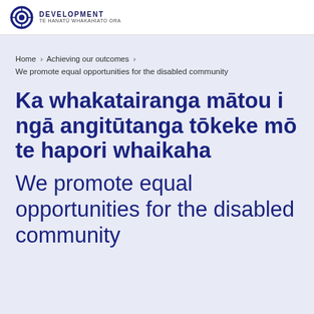DEVELOPMENT TE HANATŪ WHAKAHIATO ORA
Home › Achieving our outcomes ›
We promote equal opportunities for the disabled community
Ka whakatairanga mātou i ngā angitūtanga tōkeke mō te hapori whaikaha
We promote equal opportunities for the disabled community